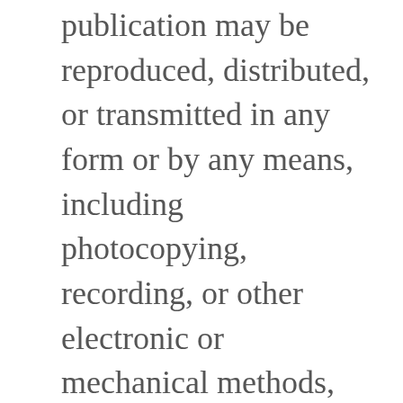publication may be reproduced, distributed, or transmitted in any form or by any means, including photocopying, recording, or other electronic or mechanical methods, without the prior written permission of the publisher, except in the case of brief quotations embodied in critical reviews and certain other noncommercial uses